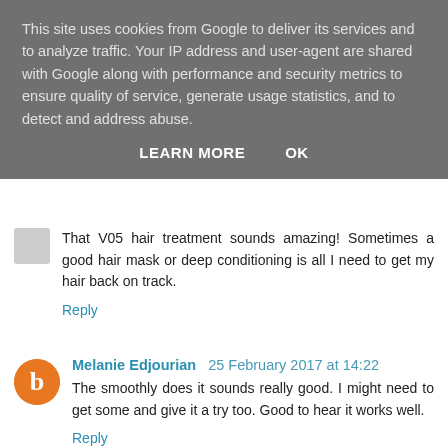This site uses cookies from Google to deliver its services and to analyze traffic. Your IP address and user-agent are shared with Google along with performance and security metrics to ensure quality of service, generate usage statistics, and to detect and address abuse.
LEARN MORE   OK
That V05 hair treatment sounds amazing! Sometimes a good hair mask or deep conditioning is all I need to get my hair back on track.
Reply
Melanie Edjourian  25 February 2017 at 14:22
The smoothly does it sounds really good. I might need to get some and give it a try too. Good to hear it works well.
Reply
Yorkshire Tots to Teens  25 February 2017 at 15:49